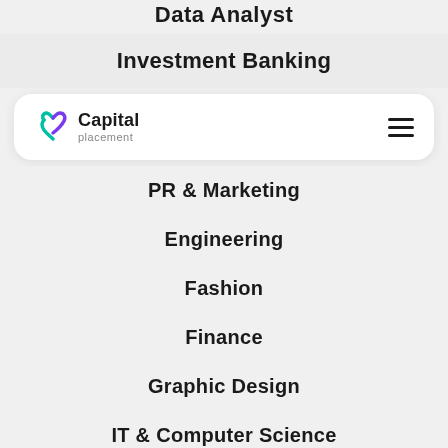Data Analyst
Investment Banking
[Figure (logo): Capital Placement logo with teal/purple heart icon and hamburger menu]
PR & Marketing
Engineering
Fashion
Finance
Graphic Design
IT & Computer Science
Logistics & Supply Chain
NGOs & Non-Profits